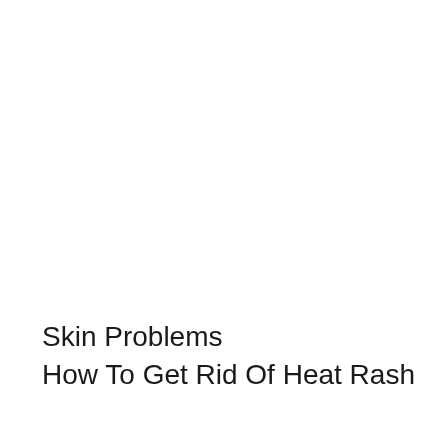Skin Problems
How To Get Rid Of Heat Rash